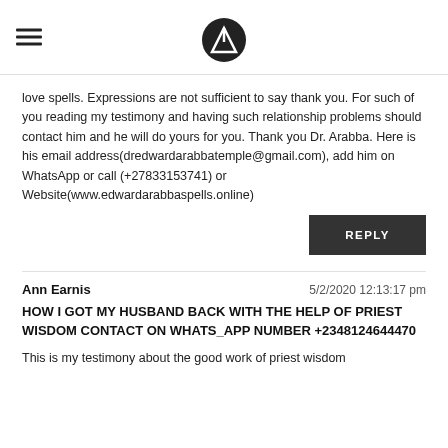[hamburger menu] [logo]
love spells. Expressions are not sufficient to say thank you. For such of you reading my testimony and having such relationship problems should contact him and he will do yours for you. Thank you Dr. Arabba. Here is his email address(dredwardarabbatemple@gmail.com), add him on WhatsApp or call (+27833153741) or Website(www.edwardarabbaspells.online)
REPLY
Ann Earnis  5/2/2020 12:13:17 pm
HOW I GOT MY HUSBAND BACK WITH THE HELP OF PRIEST WISDOM CONTACT ON WHATS_APP NUMBER +2348124644470
This is my testimony about the good work of priest wisdom